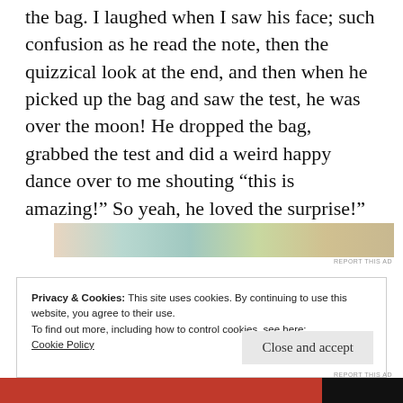the bag. I laughed when I saw his face; such confusion as he read the note, then the quizzical look at the end, and then when he picked up the bag and saw the test, he was over the moon! He dropped the bag, grabbed the test and did a weird happy dance over to me shouting “this is amazing!” So yeah, he loved the surprise!”
[Figure (other): Advertisement banner with colorful patterned images]
Privacy & Cookies: This site uses cookies. By continuing to use this website, you agree to their use.
To find out more, including how to control cookies, see here:
Cookie Policy
Close and accept